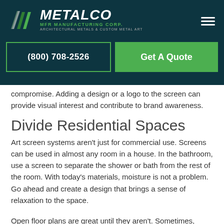[Figure (logo): Metalco MFR Manufacturing Corp. logo with green geometric M icon, white italic METALCO text, green MFR MANUFACTURING CORP. subtitle, and grey ARCHITECTURAL METALS & CUSTOM METAL ART tagline on dark teal background]
(800) 708-2526 | Get A Quote
compromise. Adding a design or a logo to the screen can provide visual interest and contribute to brand awareness.
Divide Residential Spaces
Art screen systems aren’t just for commercial use. Screens can be used in almost any room in a house. In the bathroom, use a screen to separate the shower or bath from the rest of the room. With today’s materials, moisture is not a problem. Go ahead and create a design that brings a sense of relaxation to the space.
Open floor plans are great until they aren’t. Sometimes, people need a little privacy. What happens when part of the family…